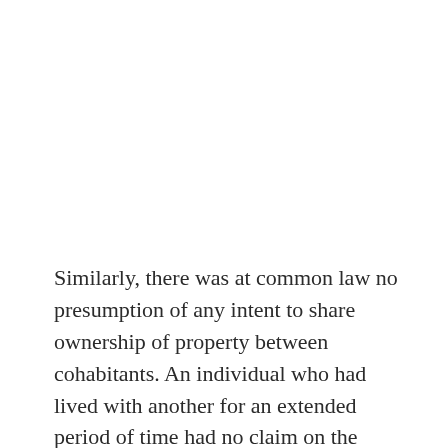Similarly, there was at common law no presumption of any intent to share ownership of property between cohabitants. An individual who had lived with another for an extended period of time had no claim on the assets that the other had brought into the relationship, unless an express gift of the particular asset could be found. Recently, a number of courts have begun to view long-term